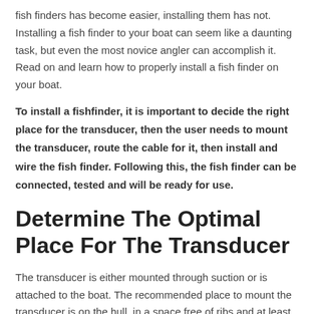fish finders has become easier, installing them has not. Installing a fish finder to your boat can seem like a daunting task, but even the most novice angler can accomplish it. Read on and learn how to properly install a fish finder on your boat.
To install a fishfinder, it is important to decide the right place for the transducer, then the user needs to mount the transducer, route the cable for it, then install and wire the fish finder. Following this, the fish finder can be connected, tested and will be ready for use.
Determine The Optimal Place For The Transducer
The transducer is either mounted through suction or is attached to the boat. The recommended place to mount the transducer is on the hull, in a space free of ribs and at least a foot from the prop. Make sure that the transducer does not get touched when loading...